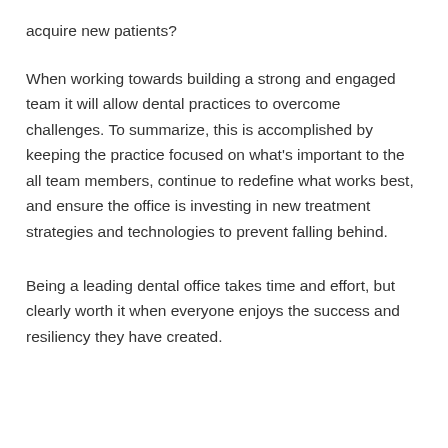acquire new patients?
When working towards building a strong and engaged team it will allow dental practices to overcome challenges. To summarize, this is accomplished by keeping the practice focused on what's important to the all team members, continue to redefine what works best, and ensure the office is investing in new treatment strategies and technologies to prevent falling behind.
Being a leading dental office takes time and effort, but clearly worth it when everyone enjoys the success and resiliency they have created.